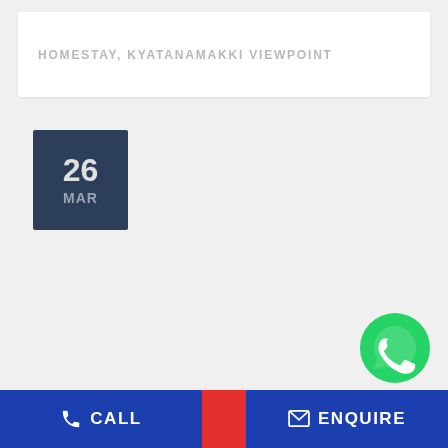HOMESTAY, KYATANAMAKKI VIEWPOINT
26 MAR
[Figure (logo): WhatsApp logo — green circle with white phone handset icon]
CALL   ENQUIRE